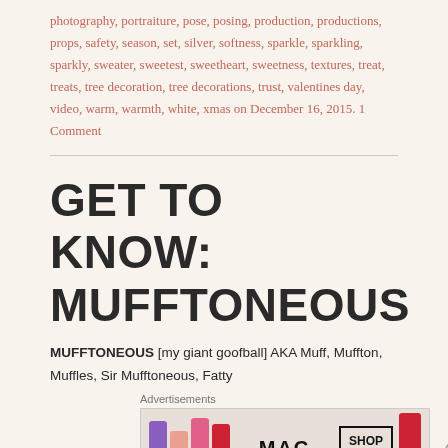photography, portraiture, pose, posing, production, productions, props, safety, season, set, silver, softness, sparkle, sparkling, sparkly, sweater, sweetest, sweetheart, sweetness, textures, treat, treats, tree decoration, tree decorations, trust, valentines day, video, warm, warmth, white, xmas on December 16, 2015. 1 Comment
GET TO KNOW: MUFFTONEOUS
MUFFTONEOUS [my giant goofball] AKA Muff, Muffton, Muffles, Sir Mufftoneous, Fatty
[Figure (other): MAC cosmetics advertisement showing lipsticks in purple, peach, pink, and red colors with MAC logo and SHOP NOW button]